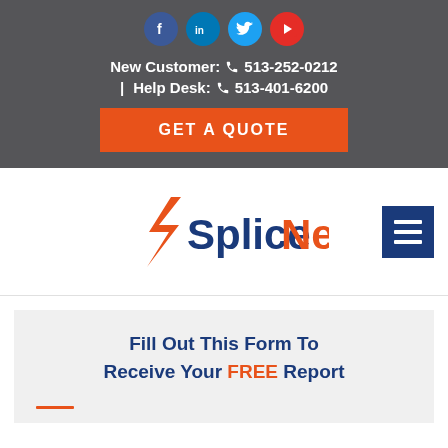[Figure (infographic): Social media icons: Facebook, LinkedIn, Twitter, YouTube]
New Customer: 📞 513-252-0212
| Help Desk: 📞 513-401-6200
GET A QUOTE
[Figure (logo): SpliceNet logo with orange lightning bolt and blue/orange text]
[Figure (other): Hamburger menu icon (three white lines on blue background)]
Fill Out This Form To Receive Your FREE Report